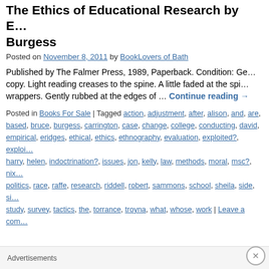The Ethics of Educational Research by E… Burgess
Posted on November 8, 2011 by BookLovers of Bath
Published by The Falmer Press, 1989, Paperback. Condition: Ge… copy. Light reading creases to the spine. A little faded at the spi… wrappers. Gently rubbed at the edges of … Continue reading →
Posted in Books For Sale | Tagged action, adjustment, after, alison, and, are, based, bruce, burgess, carrington, case, change, college, conducting, david, empirical, eridges, ethical, ethics, ethnography, evaluation, exploited?, exploi… harry, helen, indoctrination?, issues, jon, kelly, law, methods, moral, msc?, nix… politics, race, raffe, research, riddell, robert, sammons, school, sheila, side, si… study, survey, tactics, the, torrance, troyna, what, whose, work | Leave a com…
The Ethics of educational research by Ed… Burgess
Posted on November 7, 2011 by BookLovers of Bath
Published by The Falmer Press, 1989, Paperback. Condition:…
Advertisements